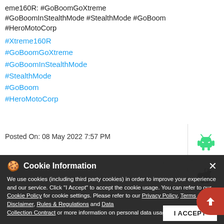eme160R: #GoBoomGoXtreme #GoBoomInStealthMode #StealthMode #GoBoom #HeroMotoCorp
#Xtreme160R
#GoBoomGoXtreme
#GoBoomInStealthMode
#StealthMode
#GoBoom
#HeroMotoCorp
Posted On: 08 May 2022 7:57 PM
[Figure (illustration): Android robot icon (green) and Apple logo icon (black) in a side panel]
Cookie Information
We use cookies (including third party cookies) in order to improve your experience and our service. Click "I Accept" to accept the cookie usage. You can refer to our Cookie Policy for cookie settings. Please refer to our Privacy Policy, Terms of Use, Disclaimer, Rules & Regulations and Data Collection Contract or more information on personal data usage.